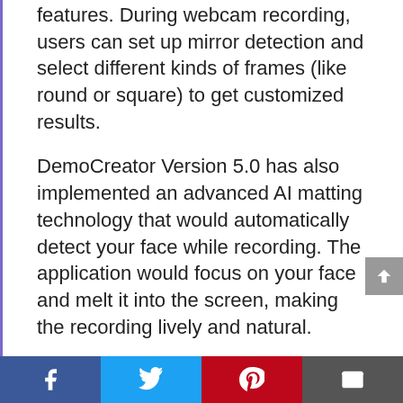features. During webcam recording, users can set up mirror detection and select different kinds of frames (like round or square) to get customized results.
DemoCreator Version 5.0 has also implemented an advanced AI matting technology that would automatically detect your face while recording. The application would focus on your face and melt it into the screen, making the recording lively and natural.
New Features of DemoCreator Video Editor
You can directly use the DemoCreator Video Editor for editing and...